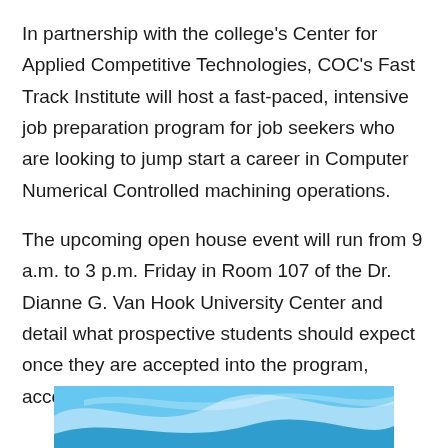In partnership with the college's Center for Applied Competitive Technologies, COC's Fast Track Institute will host a fast-paced, intensive job preparation program for job seekers who are looking to jump start a career in Computer Numerical Controlled machining operations.
The upcoming open house event will run from 9 a.m. to 3 p.m. Friday in Room 107 of the Dr. Dianne G. Van Hook University Center and detail what prospective students should expect once they are accepted into the program, according to the registration website.
[Figure (illustration): Decorative blue wave/swoosh graphic strip at the bottom of the page]